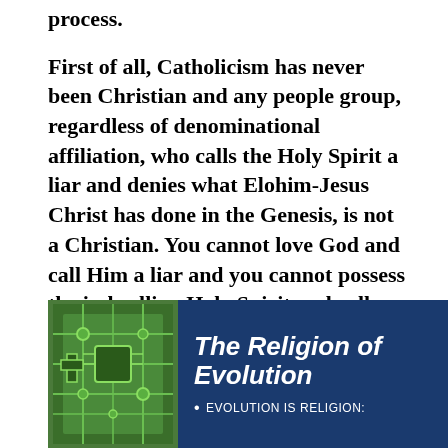process.
First of all, Catholicism has never been Christian and any people group, regardless of denominational affiliation, who calls the Holy Spirit a liar and denies what Elohim-Jesus Christ has done in the Genesis, is not a Christian. You cannot love God and call Him a liar and you cannot possess the indwelling Holy Spirit and call Him a liar by rejecting His word as articulated in the Scriptures. This is not possible!
[Figure (illustration): Book cover image titled 'The Religion of Evolution' with a green circuit-board background on the left and dark blue background on the right. The subtitle text reads 'EVOLUTION IS RELIGION:']